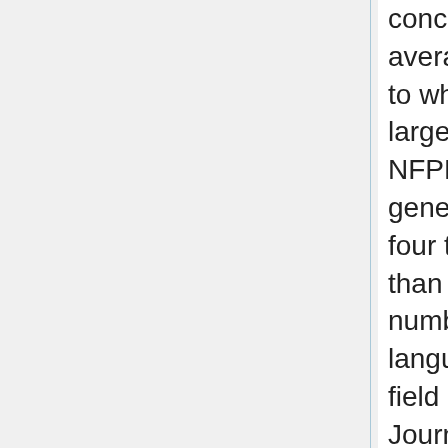concentration ratio, the larger the average price in a field, the price to which should be added the large difference between FPs, NFPPs and NFPs. [3] As a general rule, FP journals charge four times as much on average than NFP journals, for a given number of citations, age, language, number of articles, and field (or concentration ratio). Journals of scientific societies managed by FP publishers (NFPP) are twice as expensive as NFP journals (scientific societies exercise some control on prices). [4] Prices are positively correlated with quality measured by the number of citations they receive (even when